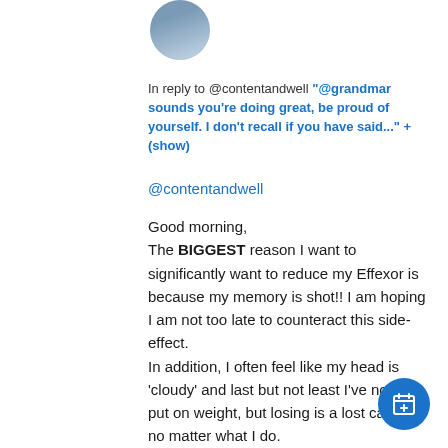[Figure (photo): Circular avatar photo of a person, partially visible at top of page]
In reply to @contentandwell "@grandmar sounds you're doing great, be proud of yourself. I don't recall if you have said..." + (show)
@contentandwell
Good morning,
The BIGGEST reason I want to significantly want to reduce my Effexor is because my memory is shot!! I am hoping I am not too late to counteract this side-effect.
In addition, I often feel like my head is 'cloudy' and last but not least I've not only put on weight, but losing is a lost cause no matter what I do.
Enjoy what is left of your weekend...
[Figure (other): Blue circular floating action button with calendar/add icon]